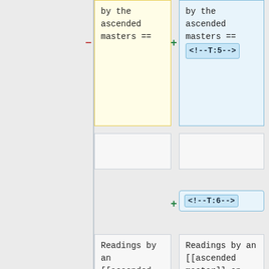by the
ascended
masters ==
by the
ascended
masters ==
<!--T:5-->
<!--T:6-->
Readings by an [[ascended master]] on behalf of a [[chela]] are given in order that lessons may be learned, goals set, and right choices made based on the
Readings by an [[ascended master]] on behalf of a [[chela]] are given in order that lessons may be learned, goals set, and right choices made based on the